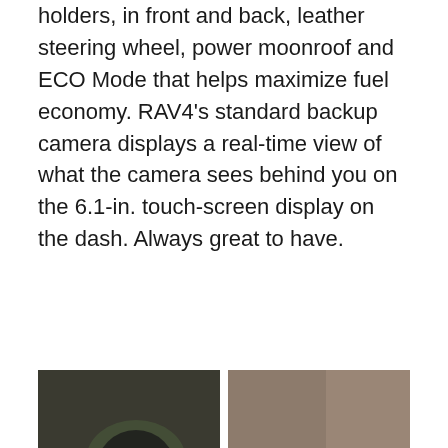holders, in front and back, leather steering wheel, power moonroof and ECO Mode that helps maximize fuel economy. RAV4's standard backup camera displays a real-time view of what the camera sees behind you on the 6.1-in. touch-screen display on the dash. Always great to have.
[Figure (photo): Four photos arranged in a 2x2 grid showing interior views of a Toyota RAV4 being driven, with a person at the steering wheel and views through the windshield of city streets.]